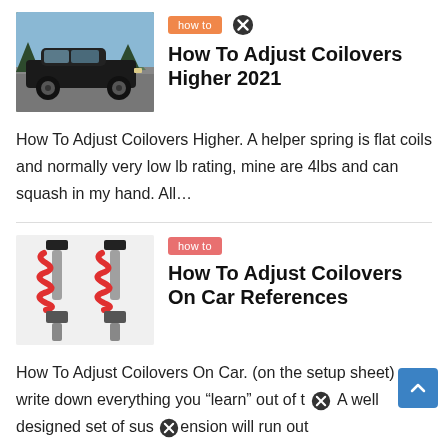[Figure (photo): Black sports car (Porsche) parked in a mountain/forest setting]
How To Adjust Coilovers Higher 2021
How To Adjust Coilovers Higher. A helper spring is flat coils and normally very low lb rating, mine are 4lbs and can squash in my hand. All...
[Figure (photo): Two red coilover suspension assemblies on white background]
How To Adjust Coilovers On Car References
How To Adjust Coilovers On Car. (on the setup sheet) write down everything you “learn” out of t A well designed set of suspension will run out